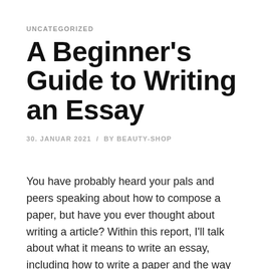UNCATEGORIZED
A Beginner's Guide to Writing an Essay
30. JANUAR 2021  /  BY BEAUTY-SHOP
You have probably heard your pals and peers speaking about how to compose a paper, but have you ever thought about writing a article? Within this report, I'll talk about what it means to write an essay, including how to write a paper and the way you are able to compose your own. You might…
[Figure (illustration): Two social media icon circles (Facebook and Twitter) in gray]
CONTINUE READING →